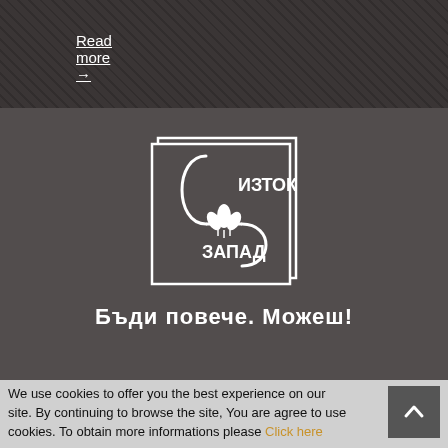Read more →
[Figure (logo): Изток-Запад publisher logo: square outline with yin-yang style S curve, lotus flower, text ИЗТОК above and ЗАПАД below]
Бъди повече. Можеш!
We use cookies to offer you the best experience on our site. By continuing to browse the site, You are agree to use cookies. To obtain more informations please Click here